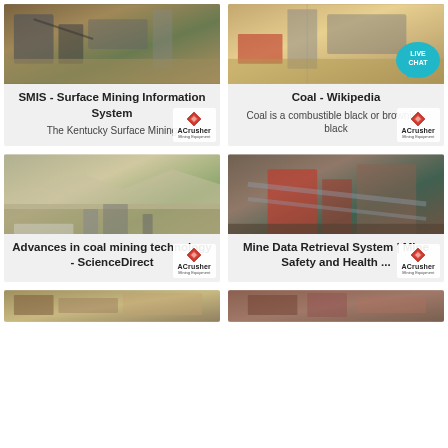[Figure (photo): Mining equipment/crusher site photo with ACrusher logo badge]
SMIS - Surface Mining Information System
The Kentucky Surface Mining
[Figure (photo): Mining processing plant photo with ACrusher logo badge and Live Chat bubble]
Coal - Wikipedia
Coal is a combustible black or brownish-black
[Figure (photo): Open-pit mining quarry photo with ACrusher logo badge]
Advances in coal mining technology - ScienceDirect
[Figure (photo): Coal mining processing facility photo with ACrusher logo badge]
Mine Data Retrieval System | Mine Safety and Health ...
[Figure (photo): Partial mining site thumbnail at bottom left]
[Figure (photo): Partial mining site thumbnail at bottom right]